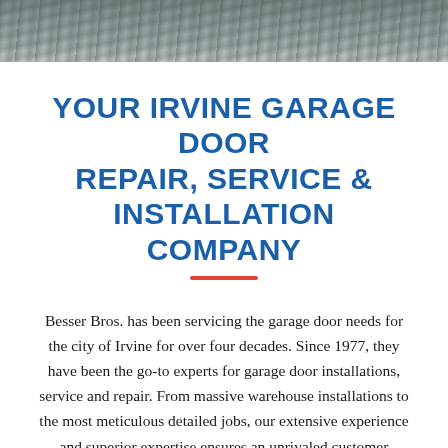[Figure (photo): Aerial or close-up photo of a driveway/road surface, dark asphalt texture with some leaves, shown as a horizontal strip at the top of the page]
YOUR IRVINE GARAGE DOOR REPAIR, SERVICE & INSTALLATION COMPANY
Besser Bros. has been servicing the garage door needs for the city of Irvine for over four decades. Since 1977, they have been the go-to experts for garage door installations, service and repair. From massive warehouse installations to the most meticulous detailed jobs, our extensive experience and superior expertise ensures an unrivaled customer experience